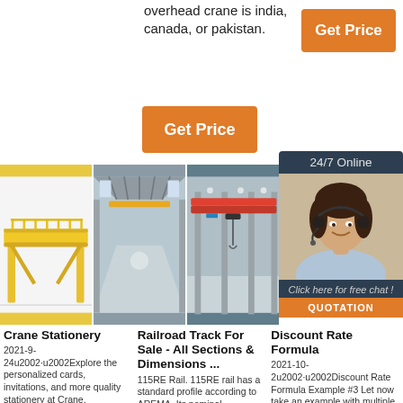overhead crane is india, canada, or pakistan.
[Figure (other): Orange 'Get Price' button (top right)]
[Figure (other): Orange 'Get Price' button (middle left)]
[Figure (other): 24/7 Online chat widget with woman photo, 'Click here for free chat!' and QUOTATION button]
[Figure (photo): Yellow gantry crane illustration]
[Figure (photo): Overhead cranes in a warehouse/factory interior]
[Figure (photo): Red overhead crane in industrial facility]
Crane Stationery
2021-9-24u2002·u2002Explore the personalized cards, invitations, and more quality stationery at Crane. Customize the
Railroad Track For Sale - All Sections & Dimensions ...
115RE Rail. 115RE rail has a standard profile according to AREMA. Its nominal
Discount Rate Formula
2021-10-2u2002·u2002Discount Rate Formula Example #3 Let now take an example with multiple future